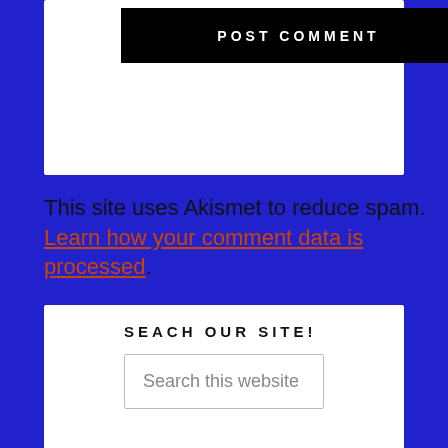[Figure (screenshot): Black POST COMMENT button on white card background]
This site uses Akismet to reduce spam. Learn how your comment data is processed.
SEACH OUR SITE!
Search this website
CONNECT WITH US!
[Figure (illustration): Social media icons: Facebook, Instagram, Pinterest, Twitter on yellow/gold square backgrounds]